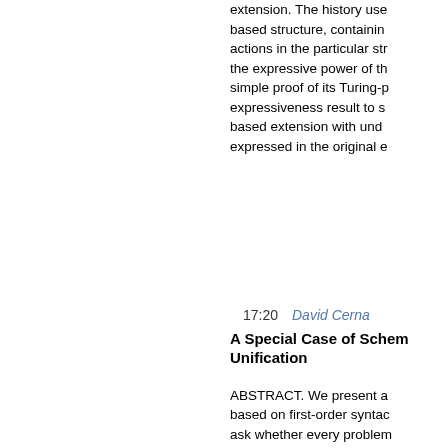extension. The history use based structure, containing actions in the particular str the expressive power of th simple proof of its Turing-p expressiveness result to s based extension with und expressed in the original e
17:20 David Cerna
A Special Case of Schematic Unification
ABSTRACT. We present a based on first-order syntac ask whether every problem defined sequence of unific unifiable, so called loop u our problem may be formu procedure calling first-ord on certain bindings occurr resulting from unification. closely related to Narrowin constructions can be seen applied during unification.